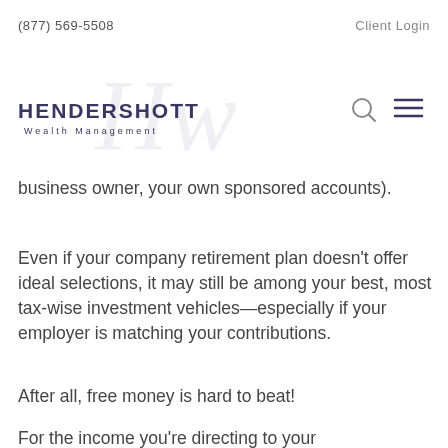(877) 569-5508   Client Login
[Figure (logo): Hendershott Wealth Management logo with stylized HW watermark]
business owner, your own sponsored accounts).
Even if your company retirement plan doesn't offer ideal selections, it may still be among your best, most tax-wise investment vehicles—especially if your employer is matching your contributions.
After all, free money is hard to beat!
For the income you're directing to your